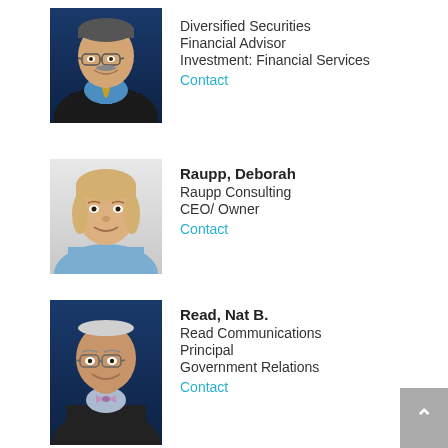[Figure (photo): Headshot of a middle-aged man with glasses, wearing a blue shirt and gold tie, smiling, against a blue background.]
Diversified Securities
Financial Advisor
Investment: Financial Services
Contact
[Figure (photo): Headshot of a woman with blonde hair, wearing a light blue top, smiling, against a light background.]
Raupp, Deborah
Raupp Consulting
CEO/ Owner
Contact
[Figure (photo): Headshot of an older man with glasses and a bow tie, smiling, against a blue background.]
Read, Nat B.
Read Communications
Principal
Government Relations
Contact